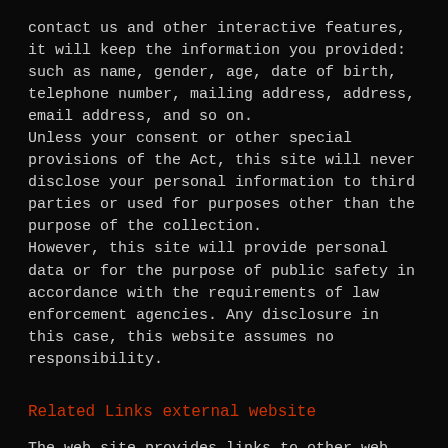contact us and other interactive features, it will keep the information you provided: such as name, gender, age, date of birth, telephone number, mailing address, address, email address, and so on. Unless your consent or other special provisions of the Act, this site will never disclose your personal information to third parties or used for purposes other than the purpose of the collection. However, this site will provide personal data or for the purpose of public safety in accordance with the requirements of law enforcement agencies. Any disclosure in this case, this website assumes no responsibility.
Related Links external website
The web site provides links to other web sites, you can